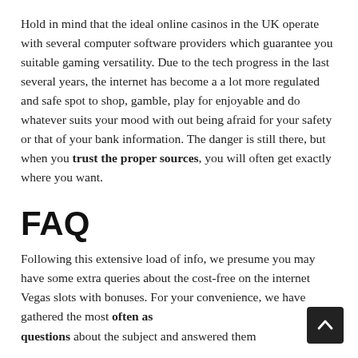Hold in mind that the ideal online casinos in the UK operate with several computer software providers which guarantee you suitable gaming versatility. Due to the tech progress in the last several years, the internet has become a a lot more regulated and safe spot to shop, gamble, play for enjoyable and do whatever suits your mood with out being afraid for your safety or that of your bank information. The danger is still there, but when you trust the proper sources, you will often get exactly where you want.
FAQ
Following this extensive load of info, we presume you may have some extra queries about the cost-free on the internet Vegas slots with bonuses. For your convenience, we have gathered the most often asked questions about the subject and answered them